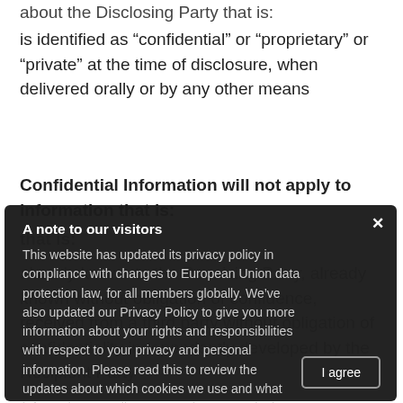about the Disclosing Party that is:
is identified as “confidential” or “proprietary” or “private” at the time of disclosure, when delivered orally or by any other means
Confidential Information will not apply to information that is:
that is:
already known to the Receiving Party, already known without obligation of confidence, received from a third party without obligation of confidentiality independently developed by the Recipient Party
Obligations and Exceptions to Obligations
The Recipient Party has the right to disclose the Confidential Information to the Recipient Party
The Recipient Party agrees not to use the Confidential Information for its own use or for any other purpose other
[Figure (screenshot): Cookie consent modal overlay with dark background. Title: 'A note to our visitors'. Body text: 'This website has updated its privacy policy in compliance with changes to European Union data protection law, for all members globally. We’ve also updated our Privacy Policy to give you more information about your rights and responsibilities with respect to your privacy and personal information. Please read this to review the updates about which cookies we use and what information we collect on our site. By continuing to use this site, you are agreeing to our updated privacy policy.' With an 'I agree' button and an X close button.]